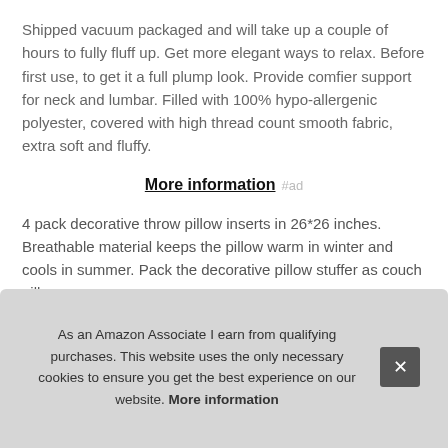Shipped vacuum packaged and will take up a couple of hours to fully fluff up. Get more elegant ways to relax. Before first use, to get it a full plump look. Provide comfier support for neck and lumbar. Filled with 100% hypo-allergenic polyester, covered with high thread count smooth fabric, extra soft and fluffy.
More information #ad
4 pack decorative throw pillow inserts in 26*26 inches. Breathable material keeps the pillow warm in winter and cools in summer. Pack the decorative pillow stuffer as couch pillo... roo... sha... look...
As an Amazon Associate I earn from qualifying purchases. This website uses the only necessary cookies to ensure you get the best experience on our website. More information